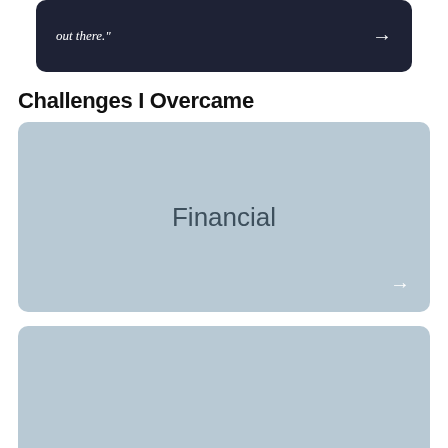out there."
Challenges I Overcame
[Figure (illustration): A card with light steel-blue background displaying the word 'Financial' in the center with a right-arrow in the bottom-right corner.]
[Figure (illustration): A second card with light steel-blue background, partially visible at the bottom of the page.]